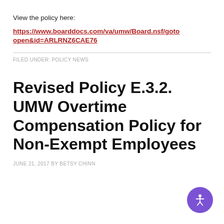View the policy here:
https://www.boarddocs.com/va/umw/Board.nsf/goto open&id=ARLRNZ6CAE76
FILED UNDER: POLICY NEWS
Revised Policy E.3.2. UMW Overtime Compensation Policy for Non-Exempt Employees
JUNE 21, 2017 BY BETSY CHINN